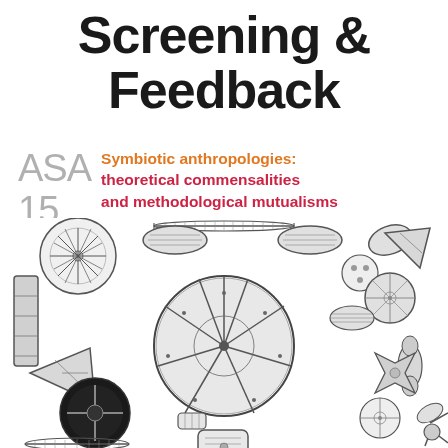Screening & Feedback
ASA 15  Symbiotic anthropologies: theoretical commensalities and methodological mutualisms
[Figure (illustration): Scientific illustration of various diatom species arranged in a decorative pattern, showing circular, elliptical, triangular, and star-shaped microorganisms in black and white engraving style.]